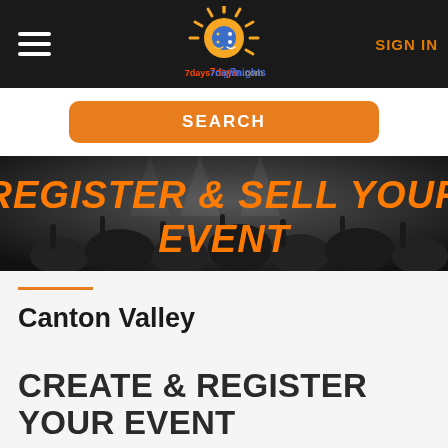SIGN IN
[Figure (logo): 7days7nights.com sun and moon logo with hamburger menu and SIGN IN link on dark header bar]
SEARCH
[Figure (photo): Black and white crowd at a concert/event with orange text overlay reading REGISTER & SELL YOUR EVENT]
REGISTER & SELL YOUR EVENT
Canton Valley
CREATE & REGISTER YOUR EVENT